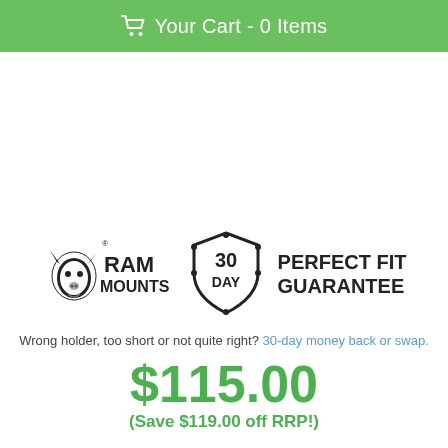Your Cart - 0 Items
[Figure (logo): RAM Mounts logo with ram head icon and text 'RAM MOUNTS', next to a shield badge reading '30 DAY', followed by bold text 'PERFECT FIT GUARANTEE']
Wrong holder, too short or not quite right? 30-day money back or swap.
$115.00
(Save $119.00 off RRP!)